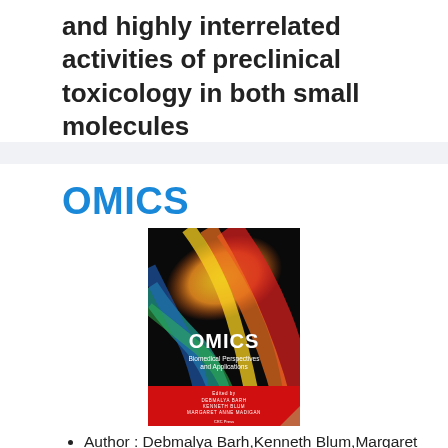and highly interrelated activities of preclinical toxicology in both small molecules
OMICS
[Figure (photo): Book cover of 'OMICS: Biomedical Perspectives and Applications', edited by Debmalya Barh, Kenneth Blum, Margaret Anne Madigan. Cover shows colorful swirling ribbons on a black background. Published by CRC Press.]
Author : Debmalya Barh,Kenneth Blum,Margaret A. Madigan